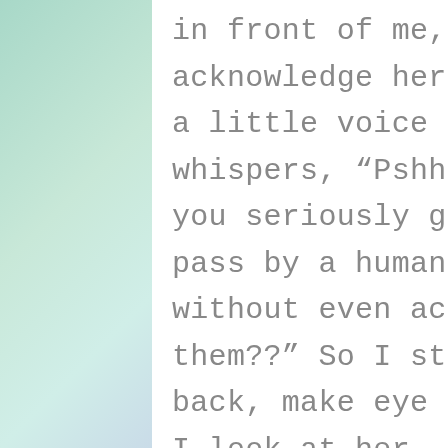in front of me, to even acknowledge her. Suddenly, a little voice in my mind whispers, “Pshhh, ummm are you seriously going to just pass by a human being without even acknowledging them??” So I stop, turn back, make eye contact and I look at her, really look at her and smile. I simply say “happy holidays” and I mean it. She looks at me like I am an alien, (maybe it’s all the toddler snot),